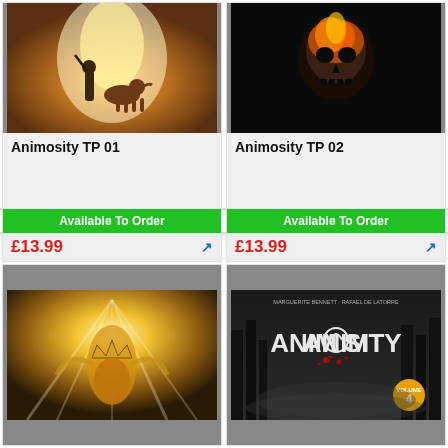[Figure (illustration): Book cover illustration: child with dog in bright light tunnel setting]
Animosity TP 01
Available To Order
£13.99
[Figure (illustration): Book cover: dark flaming skull on black background]
Animosity TP 02
Available To Order
£13.99
[Figure (illustration): Book cover: golden glowing figure with crown and wings in radiant light]
[Figure (illustration): Book cover: ANIMOSITY Volume 4 with dark forest and blood splatter, authors Marguerite Bennett and Rafael De Latorre]